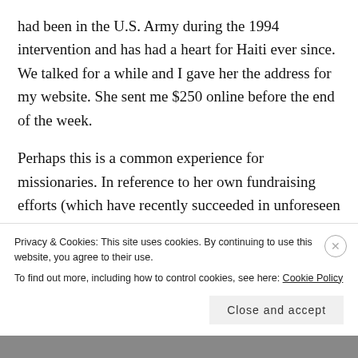had been in the U.S. Army during the 1994 intervention and has had a heart for Haiti ever since. We talked for a while and I gave her the address for my website. She sent me $250 online before the end of the week.
Perhaps this is a common experience for missionaries. In reference to her own fundraising efforts (which have recently succeeded in unforeseen ways and through unintended means), my mom quipped recently, “I wonder what else I CAN’T do for the sake of the ministry” What the Apostle Paul
Privacy & Cookies: This site uses cookies. By continuing to use this website, you agree to their use.
To find out more, including how to control cookies, see here: Cookie Policy
Close and accept